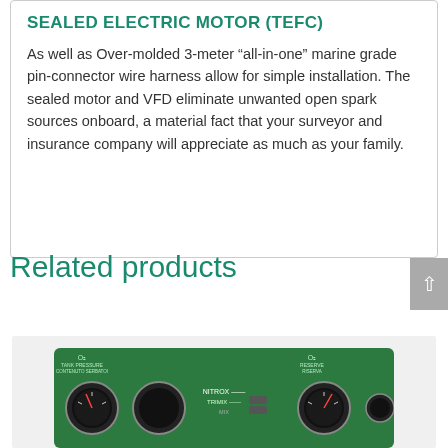SEALED ELECTRIC MOTOR (TEFC)
As well as Over-molded 3-meter “all-in-one” marine grade pin-connector wire harness allow for simple installation. The sealed motor and VFD eliminate unwanted open spark sources onboard, a material fact that your surveyor and insurance company will appreciate as much as your family.
Related products
[Figure (photo): Green electronic control panel device with gauges and labels, shown from above on a light background.]